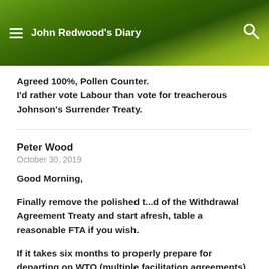John Redwood's Diary
Agreed 100%, Pollen Counter.
I'd rather vote Labour than vote for treacherous Johnson's Surrender Treaty.
Peter Wood
October 30, 2019
Good Morning,
Finally remove the polished t...d of the Withdrawal Agreement Treaty and start afresh, table a reasonable FTA if you wish.
If it takes six months to properly prepare for departing on WTO (multiple facilitation agreements), so be it, but when we leave